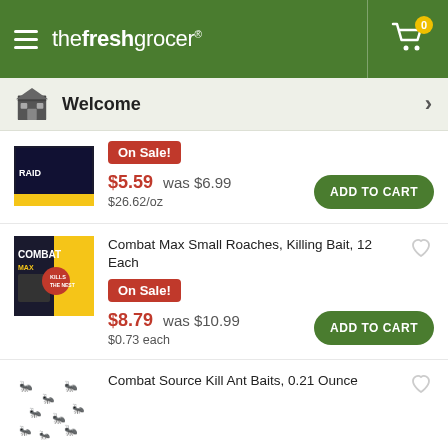thefreshgrocer
Welcome
On Sale!
$5.59  was $6.99
$26.62/oz
Combat Max Small Roaches, Killing Bait, 12 Each
On Sale!
$8.79  was $10.99
$0.73 each
Combat Source Kill Ant Baits, 0.21 Ounce